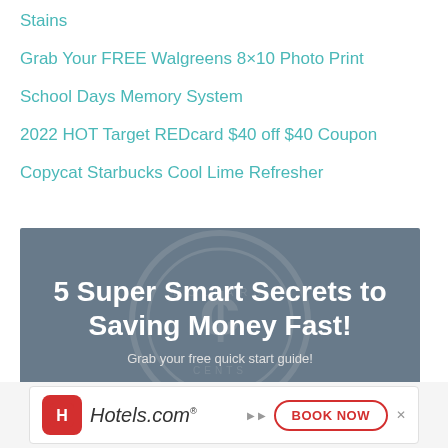Stains
Grab Your FREE Walgreens 8×10 Photo Print
School Days Memory System
2022 HOT Target REDcard $40 off $40 Coupon
Copycat Starbucks Cool Lime Refresher
[Figure (infographic): Promotional banner with dark gray-blue background showing '5 Super Smart Secrets to Saving Money Fast!' in white bold text with subtitle 'Grab your free quick start guide!' and a faint dollar coin watermark]
[Figure (infographic): Hotels.com advertisement banner with red logo icon, Hotels.com text, and 'BOOK NOW' call-to-action button]